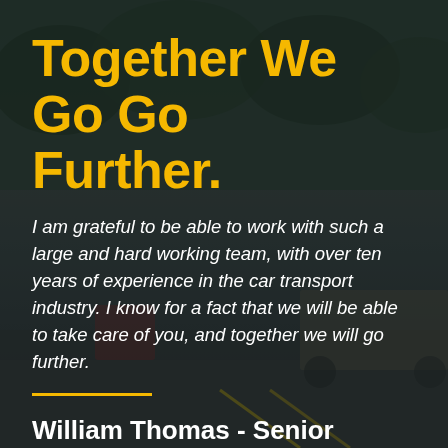[Figure (photo): Background photo of a road with trees and a truck trailer, with dark overlay. Road stretches into distance with yellow lane markings visible at bottom.]
Together We Go Further.
I am grateful to be able to work with such a large and hard working team, with over ten years of experience in the car transport industry. I know for a fact that we will be able to take care of you, and together we will go further.
William Thomas - Senior Logistics Manager